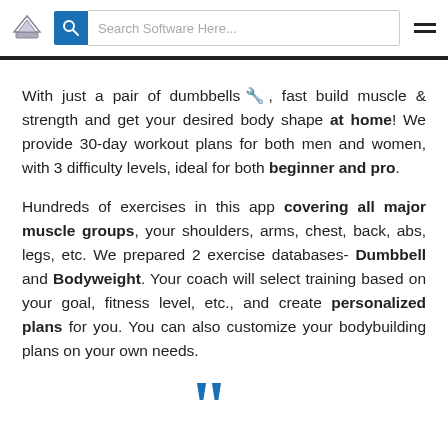Search Software Here...
With just a pair of dumbbells 🔧, fast build muscle & strength and get your desired body shape at home! We provide 30-day workout plans for both men and women, with 3 difficulty levels, ideal for both beginner and pro. Hundreds of exercises in this app covering all major muscle groups, your shoulders, arms, chest, back, abs, legs, etc. We prepared 2 exercise databases- Dumbbell and Bodyweight. Your coach will select training based on your goal, fitness level, etc., and create personalized plans for you. You can also customize your bodybuilding plans on your own needs.
[Figure (illustration): Large blue double quotation mark at bottom center of page]